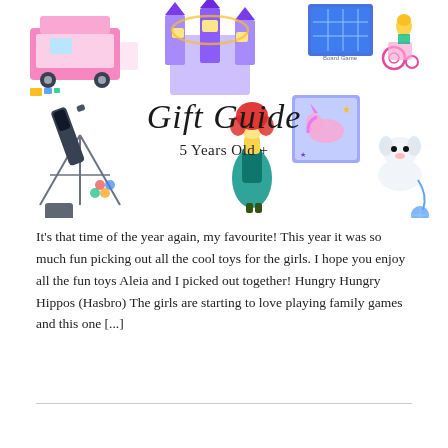[Figure (illustration): A collage of toy products for girls aged 5+, including: Barbie dream camper (pink), Disney castle playset, a board game set, Barbie doll in wheelchair, telescope with tripod, Disney Brave Merida doll, My Little Pony G5 set, a white fluffy dog toy, Disney Ariel mermaid doll, and a National Geographic rocks/gems science kit. In the center is cursive text 'Gift Guide' with subtitle '5 Years Old +' below it.]
It's that time of the year again, my favourite! This year it was so much fun picking out all the cool toys for the girls. I hope you enjoy all the fun toys Aleia and I picked out together! Hungry Hungry Hippos (Hasbro) The girls are starting to love playing family games and this one [...]